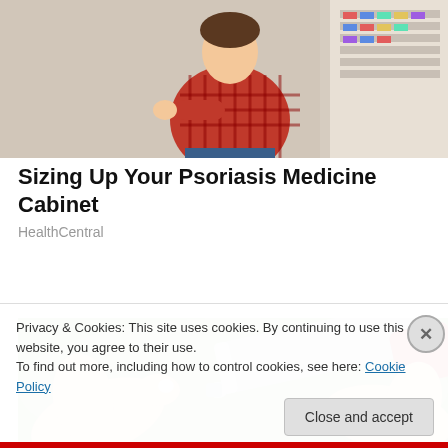[Figure (photo): Person in red plaid shirt sitting in front of a pharmacy shelf with medicine]
Sizing Up Your Psoriasis Medicine Cabinet
HealthCentral
[Figure (photo): Close-up of hands applying cream from a tube onto a fingertip, outdoors with green background]
Privacy & Cookies: This site uses cookies. By continuing to use this website, you agree to their use.
To find out more, including how to control cookies, see here: Cookie Policy
Close and accept